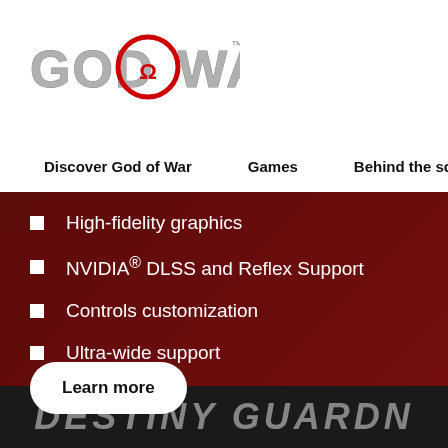[Figure (logo): God of War logo with stylized text and Omega symbol in red circle]
Discover God of War   Games   Behind the scenes   Co>
High-fidelity graphics
NVIDIA® DLSS and Reflex Support
Controls customization
Ultra-wide support
Learn more
DESTINY GUARDNEM (partial, bottom strip)